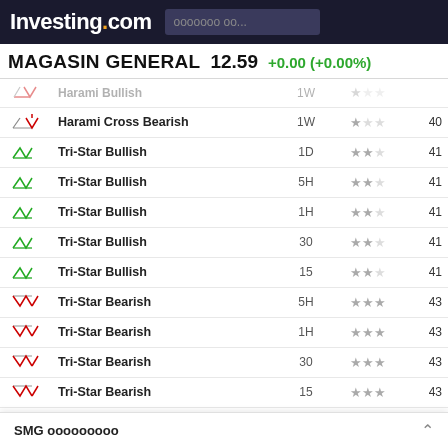Investing.com
MAGASIN GENERAL  12.59  +0.00 (+0.00%)
| Icon | Pattern | Timeframe | Stars | Candles |
| --- | --- | --- | --- | --- |
| bearish | Harami Bullish | 1W | ★☆☆ |  |
| bearish | Harami Cross Bearish | 1W | ★☆☆ | 40 |
| bullish | Tri-Star Bullish | 1D | ★★☆ | 41 |
| bullish | Tri-Star Bullish | 5H | ★★☆ | 41 |
| bullish | Tri-Star Bullish | 1H | ★★☆ | 41 |
| bullish | Tri-Star Bullish | 30 | ★★☆ | 41 |
| bullish | Tri-Star Bullish | 15 | ★★☆ | 41 |
| bearish | Tri-Star Bearish | 5H | ★★★ | 43 |
| bearish | Tri-Star Bearish | 1H | ★★★ | 43 |
| bearish | Tri-Star Bearish | 30 | ★★★ | 43 |
| bearish | Tri-Star Bearish | 15 | ★★★ | 43 |
| bullish | Tri-Star Bullish | 1D | ★★☆ | 44 |
| bearish | Tri-Star Bearish | 1D | ★★★ | 45 |
| bullish | Belt Hold Bullish | 1W | ★☆☆ | 46 |
| bullish | Tri-Star B... |  |  |  |
| bullish | Tri-Star B... |  |  |  |
SMG xxxxxxxxxx